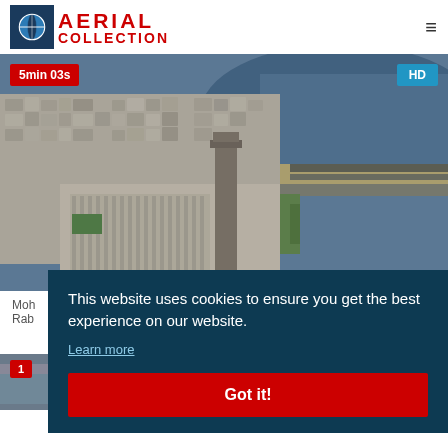AERIAL COLLECTION
[Figure (photo): Aerial photograph of a coastal city showing a large mosque complex with a tall minaret, dense urban neighborhoods, a waterfront highway, and the ocean in the background. Badge: 5min 03s (red, top-left). Badge: HD (blue, top-right).]
Mohammed V Mausoleum and Hassan Tower
Rabat, Morocco
[Figure (photo): Partial strip at bottom showing the next video thumbnail, partially obscured by cookie banner. Badge: 1 (red, top-left).]
This website uses cookies to ensure you get the best experience on our website.
Learn more
Got it!